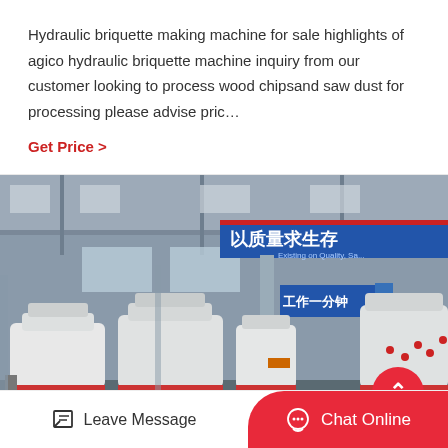Hydraulic briquette making machine for sale highlights of agico hydraulic briquette machine inquiry from our customer looking to process wood chipsand saw dust for processing please advise pric…
Get Price  >
[Figure (photo): Interior of a large industrial factory building with white cylindrical hydraulic briquette machines on a red base, Chinese text banners hanging from the ceiling (以质量求生存 and 工作一分钟). The ceiling is high with metal roof structure and windows.]
Leave Message
Chat Online